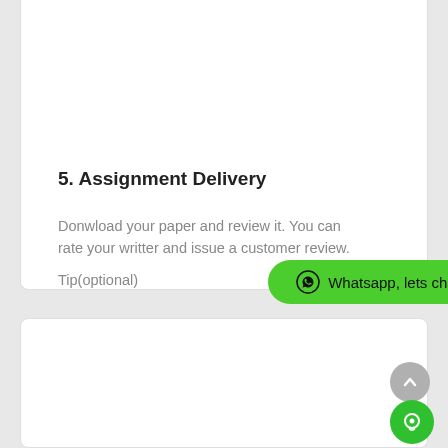5. Assignment Delivery
Donwload your paper and review it. You can rate your writter and issue a customer review. Tip(optional)
[Figure (screenshot): Green WhatsApp chat button with WhatsApp icon and text 'Whatsapp, lets chat']
[Figure (screenshot): Empty white card section below the assignment delivery card, with a gray scroll-to-top arrow button and a green chat bubble button in the bottom right corner]